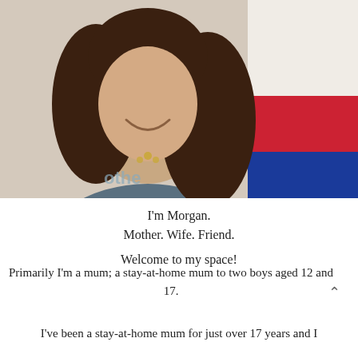[Figure (photo): A smiling woman with long dark brown hair wearing a grey t-shirt with light lettering, standing in front of a wall with red and blue stripes. She appears to be taking a selfie or having her photo taken.]
I'm Morgan.
Mother. Wife. Friend.

Welcome to my space!
Primarily I'm a mum; a stay-at-home mum to two boys aged 12 and 17.
I've been a stay-at-home mum for just over 17 years and I